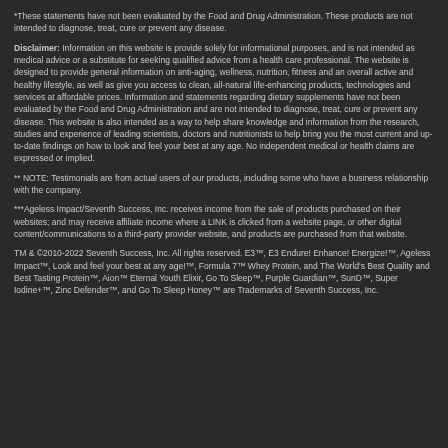*These statements have not been evaluated by the Food and Drug Administration. These products are not intended to diagnose, treat, cure or prevent any disease.
Disclaimer: Information on this website is provide solely for informational purposes, and is not intended as medical advice or a substitute for seeking qualified advice from a health care professional. The website is designed to provide general information on anti-aging, wellness, nutrition, fitness and an overall active and healthy lifestyle, as well as give you access to clean, all-natural life-enhancing products, technologies and services at affordable prices. Information and statements regarding dietary supplements have not been evaluated by the Food and Drug Administration and are not intended to diagnose, treat, cure or prevent any disease. This website is also intended as a way to help share knowledge and information from the research, studies and experience of leading scientists, doctors and nutritionists to help bring you the most current and up-to-date findings on how to look and feel your best at any age. No independent medical or health claims are expressed or implied.
** NOTE: Testimonials are from actual users of our products, including some who have a business relationship with the company.
***Ageless Impact/Seventh Success, Inc. receives income from the sale of products purchased on their websites; and may receive affiliate income where a LINK is clicked from a website page, or other digital content/communications to a third-party provider website, and products are purchased from that website.
TM & ©2010-2022 Seventh Success, Inc. All rights reserved. E3™, E3 Endure! Enhance! Energize!™, Ageless Impact™, Look and feel your best at any age!™, Formula 7™ Whey Protein, and The World's Best Quality and Best Tasting Protein™, Aion™ Eternal Youth Elixir, Go To Sleep™, Purple Guardian™, SunD™, Super Iodine+™, Zinc Defender™, and Go To Sleep Honey™ are Trademarks of Seventh Success, Inc.